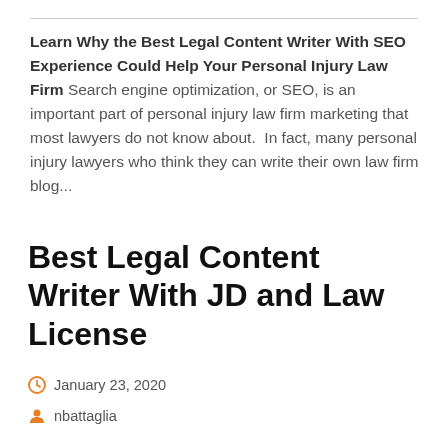Learn Why the Best Legal Content Writer With SEO Experience Could Help Your Personal Injury Law Firm Search engine optimization, or SEO, is an important part of personal injury law firm marketing that most lawyers do not know about.  In fact, many personal injury lawyers who think they can write their own law firm blog...
Best Legal Content Writer With JD and Law License
January 23, 2020
nbattaglia